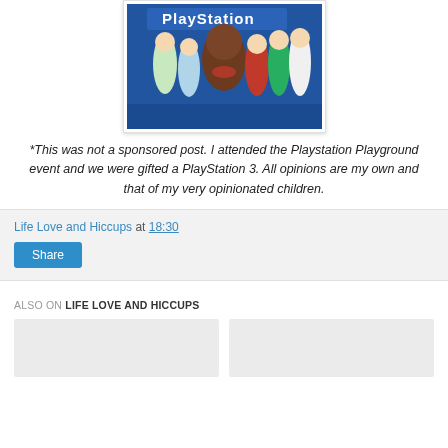[Figure (photo): Group photo of women posing in front of a PlayStation banner with a costumed character]
*This was not a sponsored post. I attended the Playstation Playground event and we were gifted a PlayStation 3. All opinions are my own and that of my very opinionated children.
Life Love and Hiccups at 18:30
Share
ALSO ON LIFE LOVE AND HICCUPS